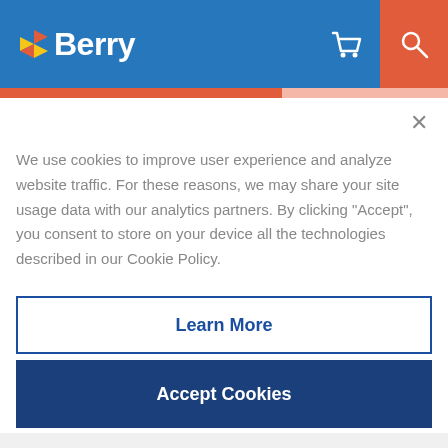Berry Global - Header navigation
the reduction in the amount of plastic waste going to
We use cookies to improve user experience and analyze website traffic. For these reasons, we may share your site usage data with our analytics partners. By clicking "Accept", you consent to store on your device all the technologies described in our Cookie Policy.
Learn More
Accept Cookies